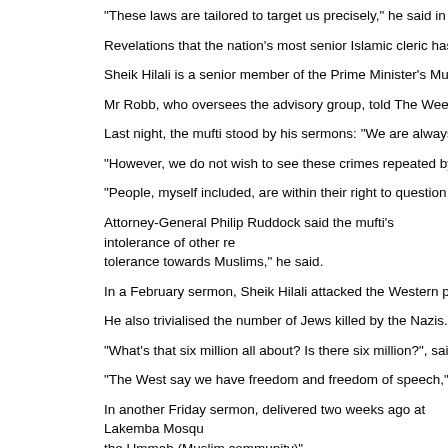"These laws are tailored to target us precisely," he said in a sermon rec
Revelations that the nation's most senior Islamic cleric has been openly
Sheik Hilali is a senior member of the Prime Minister's Muslim advisory
Mr Robb, who oversees the advisory group, told The Weekend Australi
Last night, the mufti stood by his sermons: "We are always saddened a
"However, we do not wish to see these crimes repeated by other hands
"People, myself included, are within their right to question the morality
Attorney-General Philip Ruddock said the mufti's intolerance of other re... tolerance towards Muslims," he said.
In a February sermon, Sheik Hilali attacked the Western press for being
He also trivialised the number of Jews killed by the Nazis.
"What's that six million all about? Is there six million?", said the Egypta
"The West say we have freedom and freedom of speech," he told thous
In another Friday sermon, delivered two weeks ago at Lakemba Mosqu... the Ummah (Muslim community)".
Holocaust claims a Zionist lie: mufti (http://www.theaustralian.news.con